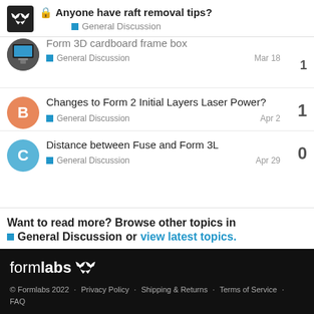Anyone have raft removal tips? — General Discussion
Form 3D cardboard frame box — General Discussion — Mar 18 — 1
Changes to Form 2 Initial Layers Laser Power? — General Discussion — Apr 2 — 1
Distance between Fuse and Form 3L — General Discussion — Apr 29 — 0
Want to read more? Browse other topics in General Discussion or view latest topics.
formlabs © Formlabs 2022 · Privacy Policy · Shipping & Returns · Terms of Service · FAQ